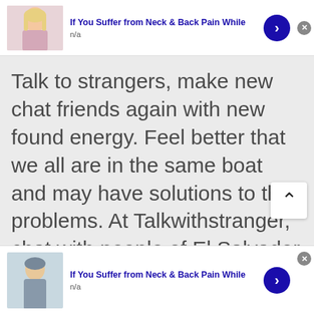[Figure (screenshot): Top advertisement banner: thumbnail photo of a woman, bold blue title 'If You Suffer from Neck & Back Pain While', subtitle 'n/a', blue circular arrow button, gray close button]
Talk to strangers, make new chat friends again with new found energy. Feel better that we all are in the same boat and may have solutions to their problems. At Talkwithstranger, chat with people of El Salvador will keep you light and fresh. Go ahead!
[Figure (screenshot): Bottom advertisement banner: thumbnail photo of a man, bold blue title 'If You Suffer from Neck & Back Pain While', subtitle 'n/a', blue circular arrow button, gray close button]